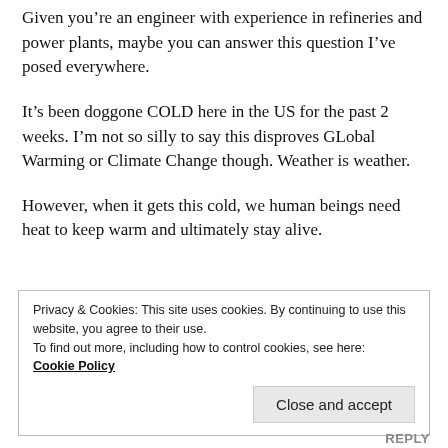Given you're an engineer with experience in refineries and power plants, maybe you can answer this question I've posed everywhere.
It's been doggone COLD here in the US for the past 2 weeks. I'm not so silly to say this disproves GLobal Warming or Climate Change though. Weather is weather.
However, when it gets this cold, we human beings need heat to keep warm and ultimately stay alive.
Privacy & Cookies: This site uses cookies. By continuing to use this website, you agree to their use.
To find out more, including how to control cookies, see here:
Cookie Policy
Close and accept
REPLY